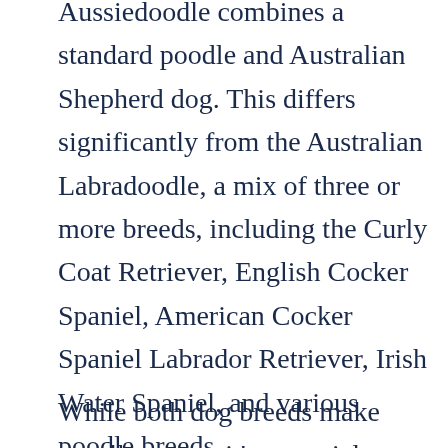Aussiedoodle combines a standard poodle and Australian Shepherd dog. This differs significantly from the Australian Labradoodle, a mix of three or more breeds, including the Curly Coat Retriever, English Cocker Spaniel, American Cocker Spaniel Labrador Retriever, Irish Water Spaniel, and various poodle breeds.
While both dog breeds make excellent pets, it's essential to get familiar with their unique characteristics, as they share similarities and differences. Doodle breeds tend to have a playful, friendly temperament familiar with many parent breeds for both Aussiedoodles